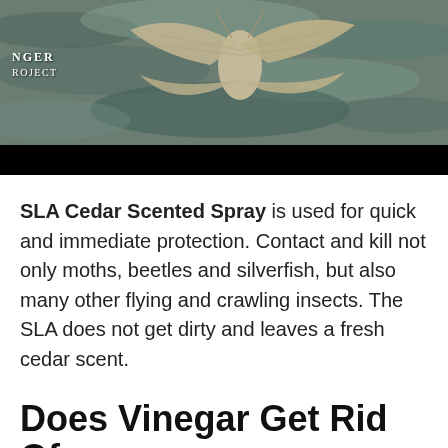[Figure (photo): Close-up photo of moths on dark blue-gray textured wool fabric, with a logo overlay reading 'NGER PROJECT' (partially cropped). A black bar runs below the photo.]
SLA Cedar Scented Spray is used for quick and immediate protection. Contact and kill not only moths, beetles and silverfish, but also many other flying and crawling insects. The SLA does not get dirty and leaves a fresh cedar scent.
Does Vinegar Get Rid Of